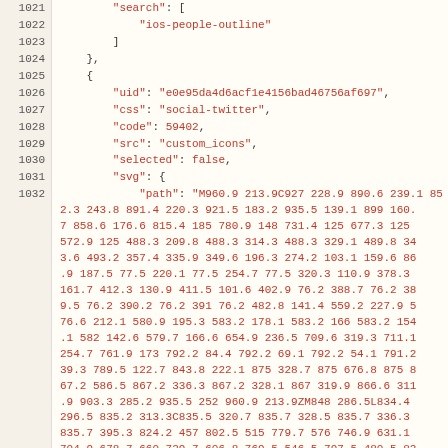Code listing showing JSON data with line numbers 1021-1032, containing search array with 'ios-people-outline', followed by an object with uid, css, code, src, selected, svg/path properties.